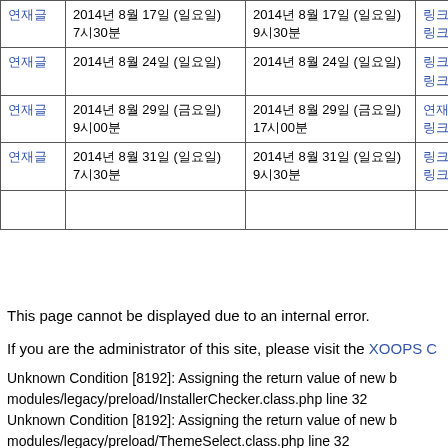|  |  |  |  |
| --- | --- | --- | --- |
| 연재글 | 2014년 8월 17일 (일요일) 7시30분 | 2014년 8월 17일 (일요일) 9시30분 | 링크링크링크링크 |
| 연재글 | 2014년 8월 24일 (일요일) | 2014년 8월 24일 (일요일) | 링크링크링크링크링크링크 |
| 연재글 | 2014년 8월 29일 (금요일) 9시00분 | 2014년 8월 29일 (금요일) 17시00분 | 링크링크 링크링크 |
| 연재글 | 2014년 8월 31일 (일요일) 7시30분 | 2014년 8월 31일 (일요일) 9시30분 | 링크링크링크링크링크링크 |
|  |  |  |  |
This page cannot be displayed due to an internal error.
If you are the administrator of this site, please visit the XOOPS C
Unknown Condition [8192]: Assigning the return value of new b modules/legacy/preload/InstallerChecker.class.php line 32 Unknown Condition [8192]: Assigning the return value of new b modules/legacy/preload/ThemeSelect.class.php line 32 Unknown Condition [8192]: Assigning the return value of new b modules/legacyRender/preload/Cacheclear.class.php line 26 Unknown Condition [8192]: Assigning the return value of new b